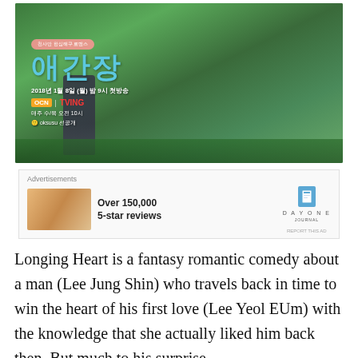[Figure (photo): Korean drama promotional poster for 'Longing Heart' (애간장) showing a man in a suit and a woman sitting on a fence, with Korean text, OCN and TVING logos, broadcast date 2018년 1월 8일]
[Figure (other): Advertisement banner for Day One Journal app showing 'Over 150,000 5-star reviews' with a photo of a person and a blue book icon logo]
Longing Heart is a fantasy romantic comedy about a man (Lee Jung Shin) who travels back in time to win the heart of his first love (Lee Yeol EUm) with the knowledge that she actually liked him back then. But much to his surprise,